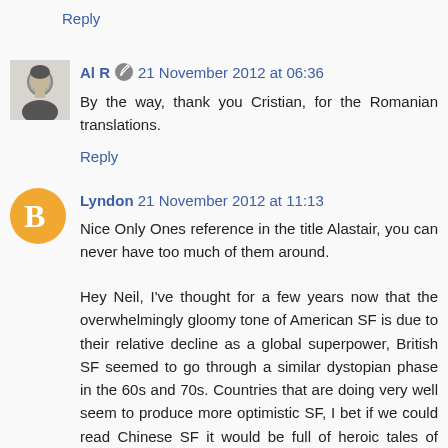Reply
[Figure (photo): Avatar photo of Al R, black and white portrait of a man]
Al R  21 November 2012 at 06:36
By the way, thank you Cristian, for the Romanian translations.
Reply
[Figure (illustration): Blogger avatar circle icon in orange with white B logo]
Lyndon 21 November 2012 at 11:13
Nice Only Ones reference in the title Alastair, you can never have too much of them around.
Hey Neil, I've thought for a few years now that the overwhelmingly gloomy tone of American SF is due to their relative decline as a global superpower, British SF seemed to go through a similar dystopian phase in the 60s and 70s. Countries that are doing very well seem to produce more optimistic SF, I bet if we could read Chinese SF it would be full of heroic tales of space colonisation and technicolour Space Operas.